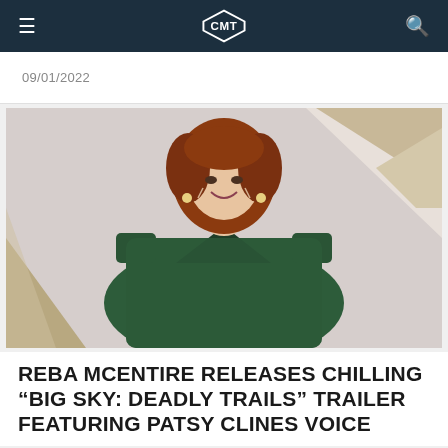CMT
09/01/2022
[Figure (photo): Reba McEntire smiling in a dark green sequin dress at a red carpet event, with a blurred geometric background]
REBA MCENTIRE RELEASES CHILLING “BIG SKY: DEADLY TRAILS” TRAILER FEATURING PATSY CLINES VOICE